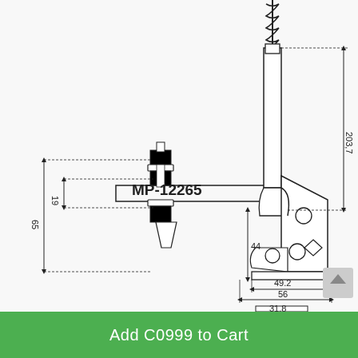[Figure (engineering-diagram): Technical engineering drawing of a toggle clamp (MP-12265) showing front and side views with dimensions: 203.7mm height, 65mm and 19mm widths on left side, 44mm vertical dimension, 49.2mm and 56mm horizontal dimensions, 31.8mm bottom width. Part number MP-12265 labeled in bold.]
Add C0999 to Cart